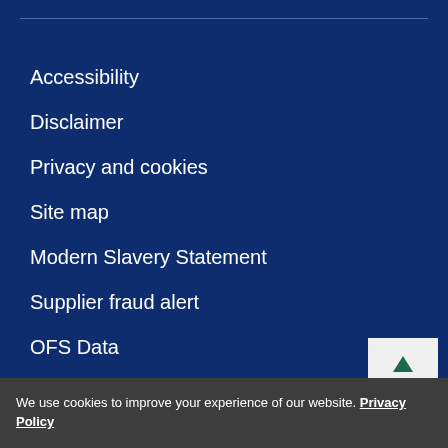Accessibility
Disclaimer
Privacy and cookies
Site map
Modern Slavery Statement
Supplier fraud alert
OFS Data
Contact the university
We use cookies to improve your experience of our website. Privacy Policy